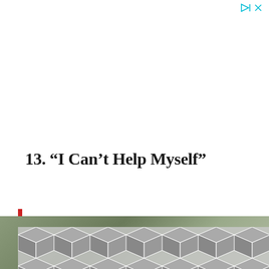[Figure (other): Ad controls: play and close (X) icons in cyan/teal color in top-right corner]
13. “I Can’t Help Myself”
[Figure (photo): Partial photo strip showing blurred outdoor/nature scene with green foliage, partially obscured by an advertisement overlay containing a repeating geometric diamond/cube pattern in grey, and a reCAPTCHA badge in the bottom right.]